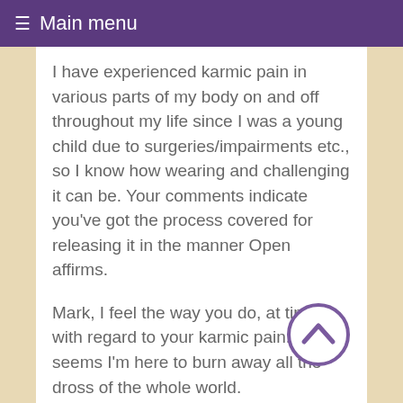≡ Main menu
I have experienced karmic pain in various parts of my body on and off throughout my life since I was a young child due to surgeries/impairments etc., so I know how wearing and challenging it can be. Your comments indicate you've got the process covered for releasing it in the manner Open affirms.
Mark, I feel the way you do, at times, with regard to your karmic pain. That it seems I'm here to burn away all the dross of the whole world.
I resonate with the truth of this quote by Joseph Campbell:
"Find a place inside where there's joy, and the joy will burn out the pain."